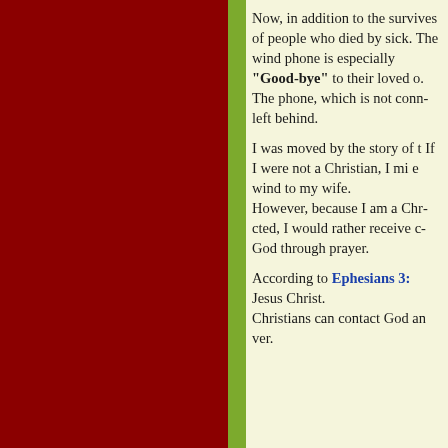Now, in addition to the survivors of people who died by sickness. The wind phone is especially "Good-bye" to their loved ones. The phone, which is not connected, left behind.
I was moved by the story of the wind phone. If I were not a Christian, I might speak to the wind to my wife. However, because I am a Christian, I would rather receive comfort from God through prayer.
According to Ephesians 3: Jesus Christ. Christians can contact God and ver.